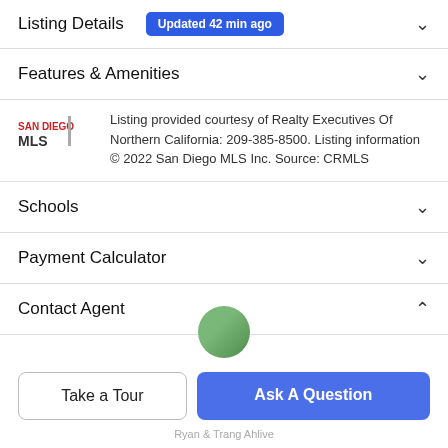Listing Details  Updated 42 min ago
Features & Amenities
Listing provided courtesy of Realty Executives Of Northern California: 209-385-8500. Listing information © 2022 San Diego MLS Inc. Source: CRMLS
Schools
Payment Calculator
Contact Agent
Take a Tour
Ask A Question